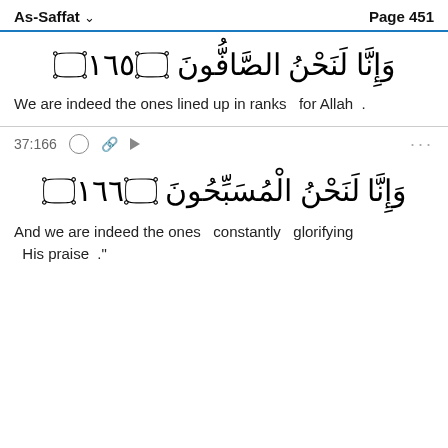As-Saffat   Page 451
وَإِنَّا لَنَحْنُ الصَّافُّونَ ١٦٥
We are indeed the ones lined up in ranks  for Allah .
37:166
وَإِنَّا لَنَحْنُ الْمُسَبِّحُونَ ١٦٦
And we are indeed the ones  constantly  glorifying His praise ."